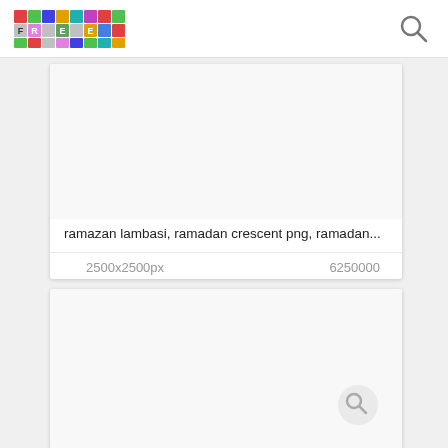[Figure (logo): FREE logo made of colorful tiles with letters F, R, E, E]
[Figure (other): Search magnifying glass icon in top right header]
[Figure (other): First image card with white/blank image area]
ramazan lambasi, ramadan crescent png, ramadan...
2500x2500px
6250000
[Figure (other): Second image card with white/blank image area and search circle icon]